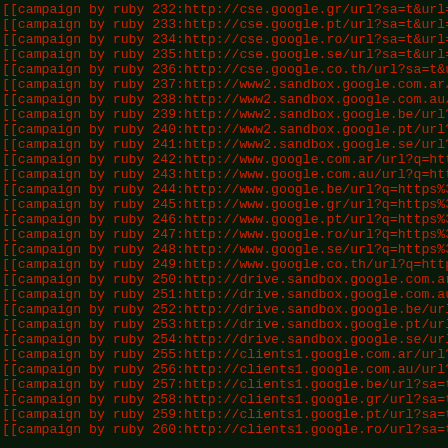[[campaign by ruby 232:http://cse.google.gr/url?sa=t&url=ht
[[campaign by ruby 233:http://cse.google.pt/url?sa=t&url=ht
[[campaign by ruby 234:http://cse.google.ro/url?sa=t&url=ht
[[campaign by ruby 235:http://cse.google.se/url?sa=t&url=ht
[[campaign by ruby 236:http://cse.google.co.th/url?sa=t&url
[[campaign by ruby 237:http://www2.sandbox.google.com.ar/ur
[[campaign by ruby 238:http://www2.sandbox.google.com.au/ur
[[campaign by ruby 239:http://www2.sandbox.google.be/url?sa
[[campaign by ruby 240:http://www2.sandbox.google.pt/url?sa
[[campaign by ruby 241:http://www2.sandbox.google.se/url?sa
[[campaign by ruby 242:http://www.google.com.ar/url?q=https
[[campaign by ruby 243:http://www.google.com.au/url?q=https
[[campaign by ruby 244:http://www.google.be/url?q=https%3A%
[[campaign by ruby 245:http://www.google.gr/url?q=https%3A%
[[campaign by ruby 246:http://www.google.pt/url?q=https%3A%
[[campaign by ruby 247:http://www.google.ro/url?q=https%3A%
[[campaign by ruby 248:http://www.google.se/url?q=https%3A%
[[campaign by ruby 249:http://www.google.co.th/url?q=https%
[[campaign by ruby 250:http://drive.sandbox.google.com.ar/u
[[campaign by ruby 251:http://drive.sandbox.google.com.au/u
[[campaign by ruby 252:http://drive.sandbox.google.be/url?s
[[campaign by ruby 253:http://drive.sandbox.google.pt/url?s
[[campaign by ruby 254:http://drive.sandbox.google.se/url?s
[[campaign by ruby 255:http://clients1.google.com.ar/url?sa
[[campaign by ruby 256:http://clients1.google.com.au/url?sa
[[campaign by ruby 257:http://clients1.google.be/url?sa=t&u
[[campaign by ruby 258:http://clients1.google.gr/url?sa=t&u
[[campaign by ruby 259:http://clients1.google.pt/url?sa=t&u
[[campaign by ruby 260:http://clients1.google.ro/url?sa=t&u